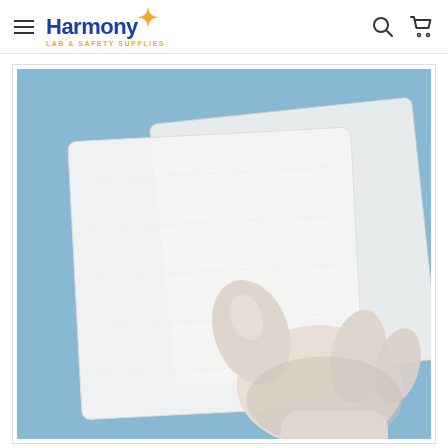Harmony Lab & Safety Supplies — navigation header with hamburger menu, logo, search icon, and cart icon
[Figure (photo): A gloved hand (white latex/nitrile glove) holding two white cleanroom wipes/nonwoven cloths against a light blue background. The wipes are square, semi-translucent, and slightly stacked.]